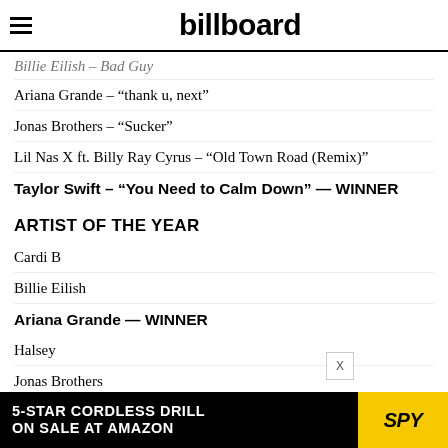billboard
Billie Eilish – Bad Guy
Ariana Grande – “thank u, next”
Jonas Brothers – “Sucker”
Lil Nas X ft. Billy Ray Cyrus – “Old Town Road (Remix)”
Taylor Swift – “You Need to Calm Down” — WINNER
ARTIST OF THE YEAR
Cardi B
Billie Eilish
Ariana Grande — WINNER
Halsey
Jonas Brothers
[Figure (infographic): Advertisement banner: 5-STAR CORDLESS DRILL ON SALE AT AMAZON with SPY logo on yellow background]